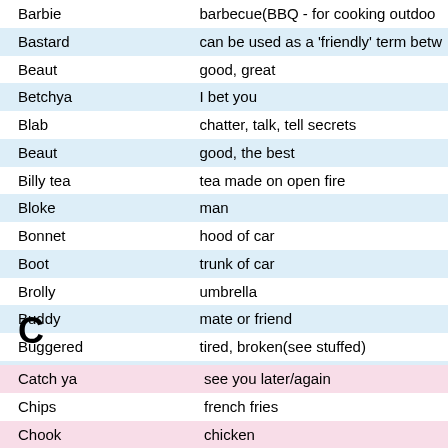| Term | Definition |
| --- | --- |
| Barbie | barbecue(BBQ - for cooking outdoo… |
| Bastard | can be used as a 'friendly' term betw… |
| Beaut | good, great |
| Betchya | I bet you |
| Blab | chatter, talk, tell secrets |
| Beaut | good, the best |
| Billy tea | tea made on open fire |
| Bloke | man |
| Bonnet | hood of car |
| Boot | trunk of car |
| Brolly | umbrella |
| Buddy | mate or friend |
| Buggered | tired, broken(see stuffed) |
| BYO | Bring Your Own drinks |
| BYOG | Bring Your Own Grog |
C
| Term | Definition |
| --- | --- |
| Catch ya | see you later/again |
| Chips | french fries |
| Chook | chicken |
| Cocky | cockatoo (a bird) or a small time far… |